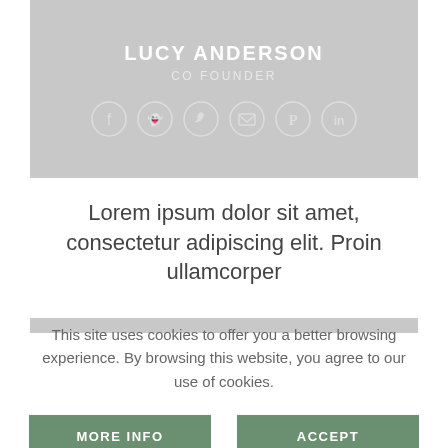[Figure (illustration): Profile card with gray background showing name LUCY ANDERSON, title CO FOUNDER, and 6 circular social media icons (Facebook, Snapchat, Twitter, Email, Pinterest, LinkedIn)]
Lorem ipsum dolor sit amet, consectetur adipiscing elit. Proin ullamcorper
This site uses cookies to offer you a better browsing experience. By browsing this website, you agree to our use of cookies.
MORE INFO
ACCEPT